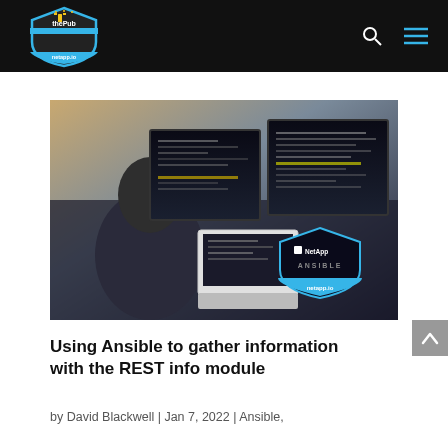thePub netapp.io
[Figure (photo): Person working at a multi-monitor coding workstation, with a NetApp Ansible netapp.io badge overlay in the bottom right of the image.]
Using Ansible to gather information with the REST info module
by David Blackwell | Jan 7, 2022 | Ansible,